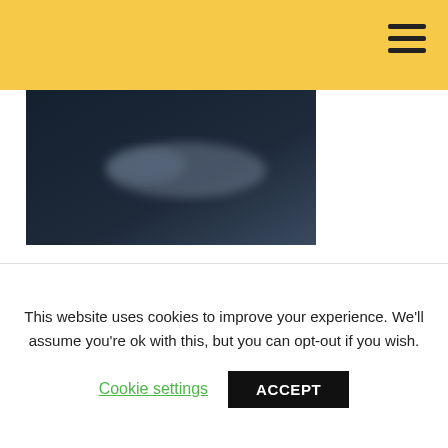[Figure (photo): Blurred dark background hero image, partially visible at top of page]
CHECK OUT OUR WEBINAR WITH THE CONTENT WRANGLER
[Figure (screenshot): Webinar thumbnail strip with red sidebar, italic name 'Guiseppe Getto' in orange, dark green background, and a gold star graphic on the right]
This website uses cookies to improve your experience. We'll assume you're ok with this, but you can opt-out if you wish.
Cookie settings  ACCEPT